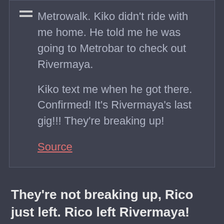Metrowalk. Kiko didn't ride with me home. He told me he was going to Metrobar to check out Rivermaya.

Kiko text me when he got there. Confirmed! It's Rivermaya's last gig!!! They're breaking up!

Source
They're not breaking up, Rico just left. Rico left Rivermaya!
I rarely blog about the local music scene now,